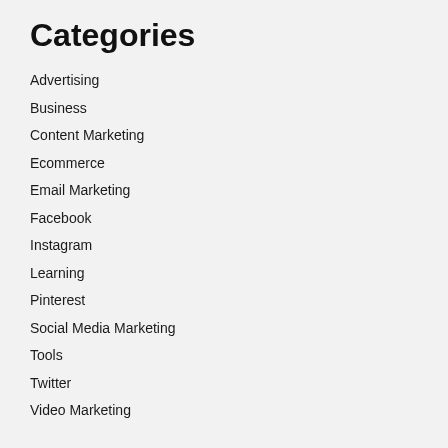Categories
Advertising
Business
Content Marketing
Ecommerce
Email Marketing
Facebook
Instagram
Learning
Pinterest
Social Media Marketing
Tools
Twitter
Video Marketing